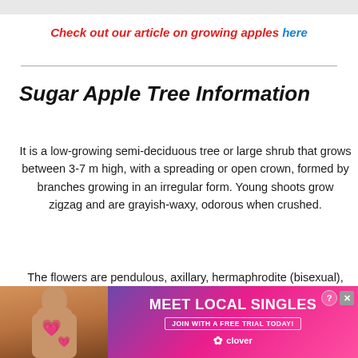Check out our article on growing apples here
Sugar Apple Tree Information
It is a low-growing semi-deciduous tree or large shrub that grows between 3-7 m high, with a spreading or open crown, formed by branches growing in an irregular form. Young shoots grow zigzag and are grayish-waxy, odorous when crushed.
The flowers are pendulous, axillary, hermaphrodite (bisexual), and usually solitary but can grow in groups of two to four. Sugar apple flowers are fragrant and have a green tint in ... ers are
[Figure (other): Advertisement banner: Meet Local Singles - Clover dating app ad with photo of woman]